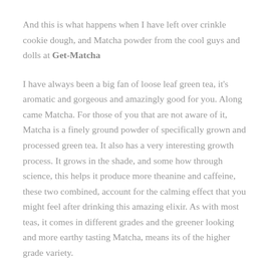And this is what happens when I have left over crinkle cookie dough, and Matcha powder from the cool guys and dolls at Get-Matcha
I have always been a big fan of loose leaf green tea, it's aromatic and gorgeous and amazingly good for you. Along came Matcha. For those of you that are not aware of it, Matcha is a finely ground powder of specifically grown and processed green tea. It also has a very interesting growth process. It grows in the shade, and some how through science, this helps it produce more theanine and caffeine, these two combined, account for the calming effect that you might feel after drinking this amazing elixir. As with most teas, it comes in different grades and the greener looking and more earthy tasting Matcha, means its of the higher grade variety.